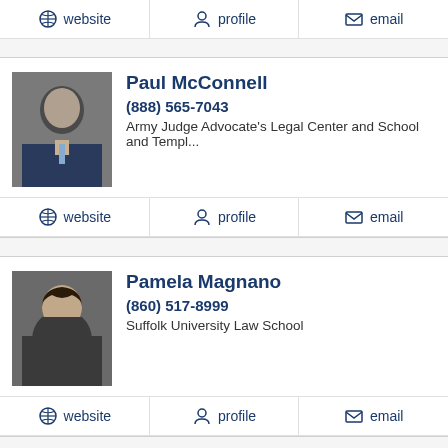website | profile | email (top action bar)
[Figure (photo): Headshot of Paul McConnell, bald man in suit with blue tie]
Paul McConnell
(888) 565-7043
Army Judge Advocate's Legal Center and School and Templ...
website | profile | email
[Figure (photo): Headshot of Pamela Magnano, woman with dark hair in professional attire]
Pamela Magnano
(860) 517-8999
Suffolk University Law School
website | profile | email
[Figure (photo): Partial headshot of Michael D. Day]
Michael D. Day